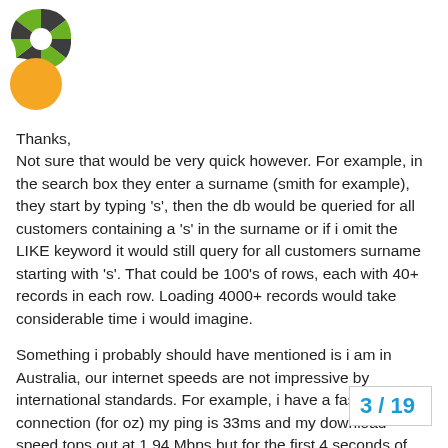[Figure (logo): Ozzu (or similar) green and black circular segmented logo]
[Figure (other): Orange circular avatar/user icon]
Thanks,
Not sure that would be very quick however. For example, in the search box they enter a surname (smith for example), they start by typing 's', then the db would be queried for all customers containing a 's' in the surname or if i omit the LIKE keyword it would still query for all customers surname starting with 's'. That could be 100's of rows, each with 40+ records in each row. Loading 4000+ records would take considerable time i would imagine.
Something i probably should have mentioned is i am in Australia, our internet speeds are not impressive by international standards. For example, i have a fast connection (for oz) my ping is 33ms and my download speed tops out at 1.94 Mbps but for the first 4 seconds of the test i was only achieving 0.56Mbps with an average of 1.77Mbps.
Am i overestimating the time it would take
3 / 19